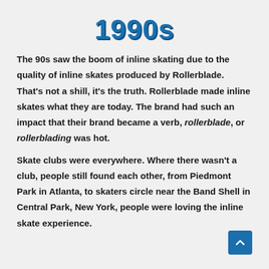1990s
The 90s saw the boom of inline skating due to the quality of inline skates produced by Rollerblade. That’s not a shill, it’s the truth. Rollerblade made inline skates what they are today. The brand had such an impact that their brand became a verb, rollerblade, or rollerblading was hot.
Skate clubs were everywhere. Where there wasn’t a club, people still found each other, from Piedmont Park in Atlanta, to skaters circle near the Band Shell in Central Park, New York, people were loving the inline skate experience.